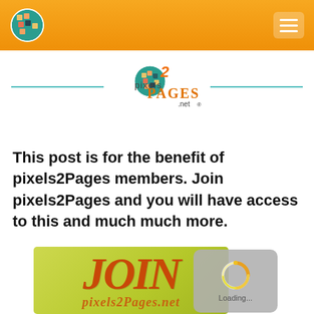pixels2Pages.net navigation header
[Figure (logo): pixels2Pages.net logo with globe icon and teal divider lines]
This post is for the benefit of pixels2Pages members. Join pixels2Pages and you will have access to this and much much more.
[Figure (illustration): JOIN pixels2Pages.net green banner with decorative orange text and a loading overlay with spinner]